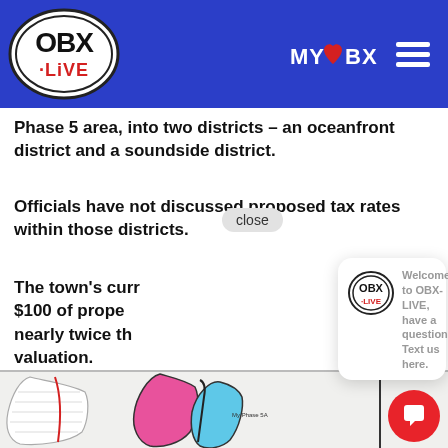OBX-LIVE | MYOBX
Phase 5 area, into two districts – an oceanfront district and a soundside district.
Officials have not discussed proposed tax rates within those districts.
The town's curr $100 of prope nearly twice th valuation.
[Figure (screenshot): OBX-LIVE chat popup: Welcome to OBX-LIVE, have a question? Text us here.]
[Figure (map): Partial map showing colored district zones in pink and blue]